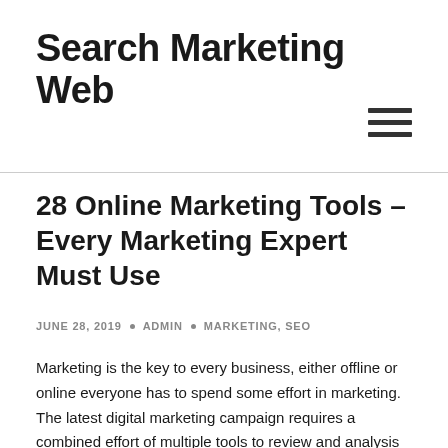Search Marketing Web
28 Online Marketing Tools – Every Marketing Expert Must Use
JUNE 28, 2019 • ADMIN • MARKETING, SEO
Marketing is the key to every business, either offline or online everyone has to spend some effort in marketing. The latest digital marketing campaign requires a combined effort of multiple tools to review and analysis of the marketing process and statics.